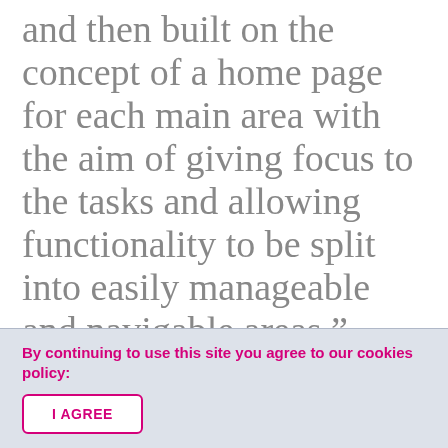and then built on the concept of a home page for each main area with the aim of giving focus to the tasks and allowing functionality to be split into easily manageable and navigable areas.”
By continuing to use this site you agree to our cookies policy:
I AGREE